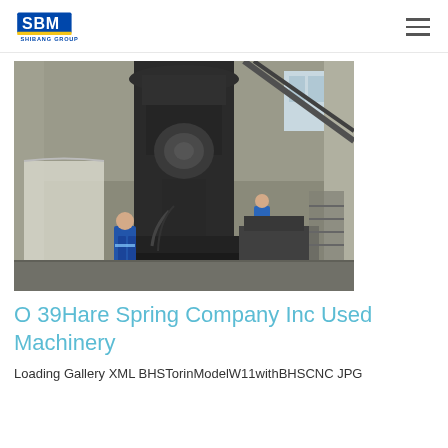SBM SHIBANG GROUP
[Figure (photo): Industrial machinery photo showing a large vertical grinding mill or spring machine inside a factory. Two workers in blue uniforms are visible near the large dark metal machine. The factory interior has concrete walls and metal framework visible.]
O 39Hare Spring Company Inc Used Machinery
Loading Gallery XML BHSTorinModelW11withBHSCNC JPG